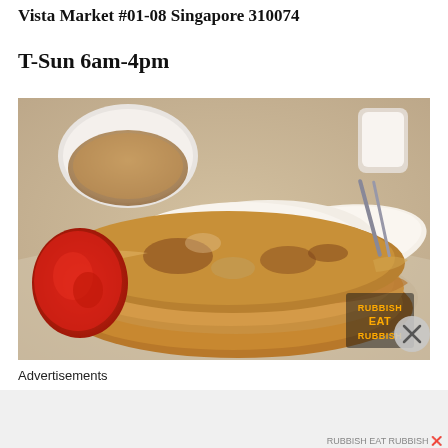Vista Market #01-08 Singapore 310074
T-Sun 6am-4pm
[Figure (photo): A plate of roti prata (Indian flatbread) stacked on a white plate, with red sambal on the left side and a bowl of curry in the background. A watermark reading RUBBISH EAT RUBBISH is visible at bottom right, partially covered by a close/dismiss button.]
Advertisements